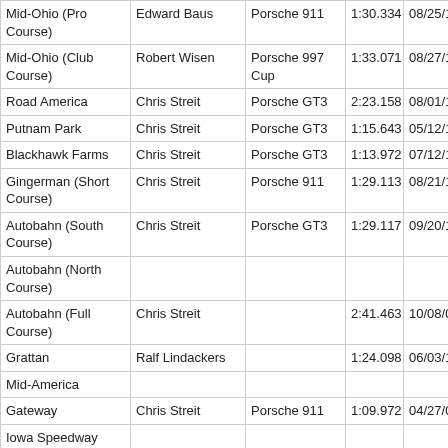| Track | Driver | Car | Time | Date |
| --- | --- | --- | --- | --- |
| Mid-Ohio (Pro Course) | Edward Baus | Porsche 911 | 1:30.334 | 08/25/19 |
| Mid-Ohio (Club Course) | Robert Wisen | Porsche 997 Cup | 1:33.071 | 08/27/17 |
| Road America | Chris Streit | Porsche GT3 | 2:23.158 | 08/01/15 |
| Putnam Park | Chris Streit | Porsche GT3 | 1:15.643 | 05/12/12 |
| Blackhawk Farms | Chris Streit | Porsche GT3 | 1:13.972 | 07/12/14 |
| Gingerman (Short Course) | Chris Streit | Porsche 911 | 1:29.113 | 08/21/10 |
| Autobahn (South Course) | Chris Streit | Porsche GT3 | 1:29.117 | 09/20/15 |
| Autobahn (North Course) |  |  |  |  |
| Autobahn (Full Course) | Chris Streit |  | 2:41.463 | 10/08/07 |
| Grattan | Ralf Lindackers |  | 1:24.098 | 06/03/12 |
| Mid-America |  |  |  |  |
| Gateway | Chris Streit | Porsche 911 | 1:09.972 | 04/27/08 |
| Iowa Speedway |  |  |  |  |
| Pitt Race | Edward Baus | Porsche 944 | 1:01.199 | 05/17/15 |
| Waterford Hills | Tim Rooney |  | 1:18.264 | 08/13/05 |
| Brainerd | Mark Siggelkow | Audi Coupe | 1:51.200 | 05/22/10 |
| Gingerman (Long… |  |  |  |  |